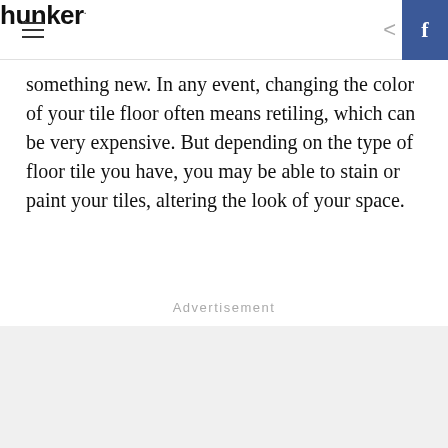hunker
something new. In any event, changing the color of your tile floor often means retiling, which can be very expensive. But depending on the type of floor tile you have, you may be able to stain or paint your tiles, altering the look of your space.
Advertisement